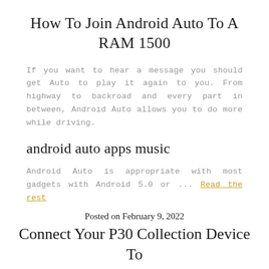How To Join Android Auto To A RAM 1500
If you want to hear a message you should get Auto to play it again to you. From highway to backroad and every part in between, Android Auto allows you to do more while driving.
android auto apps music
Android Auto is appropriate with most gadgets with Android 5.0 or ... Read the rest
Posted on February 9, 2022
Connect Your P30 Collection Device To